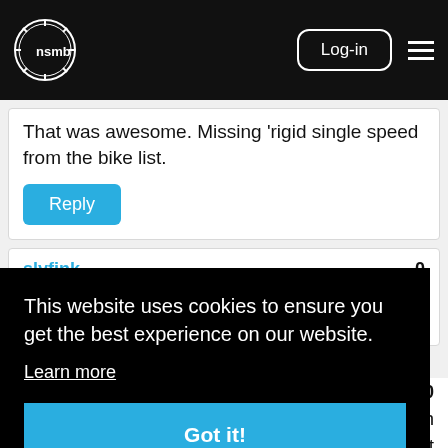nsmb logo, Log-in button, hamburger menu
That was awesome. Missing 'rigid single speed from the bike list.
Reply
slyfink
8 years, 10 months ago
learn the name of the admitting nurse at your
This website uses cookies to ensure you get the best experience on our website.
Learn more
Got it!
0
gh out
gear ratio / gear inches and whether to go rigid or